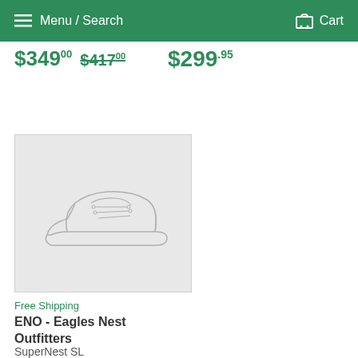Menu / Search   Cart
$349.00 $417.00
$299.95
[Figure (illustration): Line drawing of a sneaker/shoe on a light gray background]
Free Shipping
ENO - Eagles Nest Outfitters
SuperNest SL